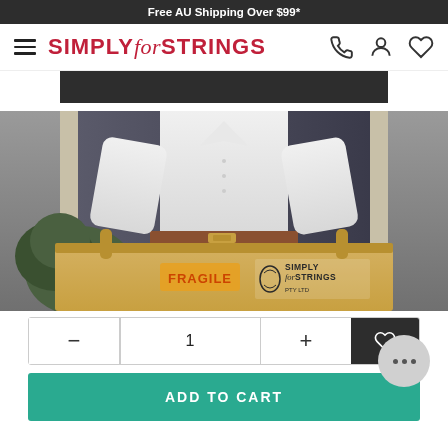Free AU Shipping Over $99*
[Figure (logo): Simply for Strings logo with hamburger menu and nav icons (phone, user, heart)]
[Figure (photo): Person holding a large kraft paper bag labeled FRAGILE and Simply for Strings, standing at a doorway]
- 1 +
ADD TO CART